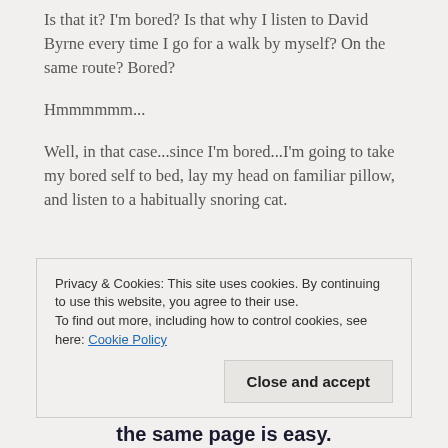Is that it? I'm bored? Is that why I listen to David Byrne every time I go for a walk by myself? On the same route? Bored?
Hmmmmmm...
Well, in that case...since I'm bored...I'm going to take my bored self to bed, lay my head on familiar pillow, and listen to a habitually snoring cat.
Privacy & Cookies: This site uses cookies. By continuing to use this website, you agree to their use.
To find out more, including how to control cookies, see here: Cookie Policy
Close and accept
the same page is easy.